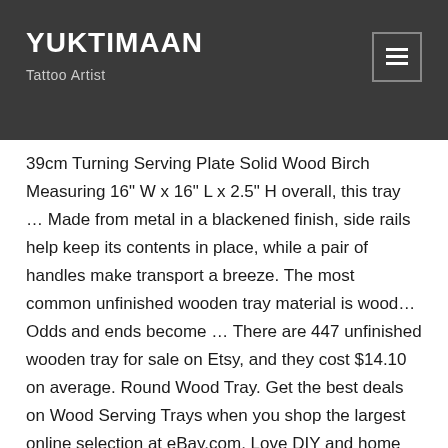YUKTIMAAN
Tattoo Artist
39cm Turning Serving Plate Solid Wood Birch Measuring 16" W x 16" L x 2.5" H overall, this tray … Made from metal in a blackened finish, side rails help keep its contents in place, while a pair of handles make transport a breeze. The most common unfinished wooden tray material is wood… Odds and ends become … There are 447 unfinished wooden tray for sale on Etsy, and they cost $14.10 on average. Round Wood Tray. Get the best deals on Wood Serving Trays when you shop the largest online selection at eBay.com. Love DIY and home decor? Dan S. – Palm Springs California. The EZ Path Cable Tray Retrofit Device quickly and easily remediates existing cable